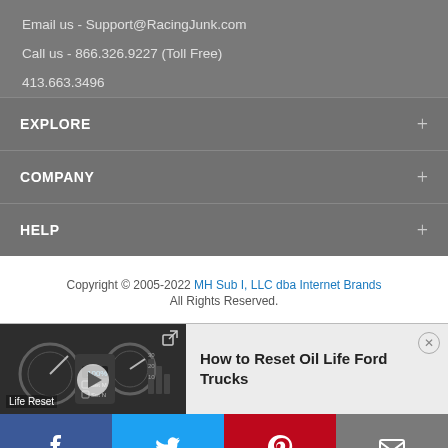Email us - Support@RacingJunk.com
Call us - 866.326.9227 (Toll Free)
413.663.3496
EXPLORE
COMPANY
HELP
Copyright © 2005-2022 MH Sub I, LLC dba Internet Brands All Rights Reserved.
[Figure (screenshot): Video thumbnail showing car dashboard gauges with 'Life Reset' text overlay, play button, and external link icon]
How to Reset Oil Life Ford Trucks
[Figure (infographic): Social media sharing bar with Facebook, Twitter, Pinterest, and email buttons]